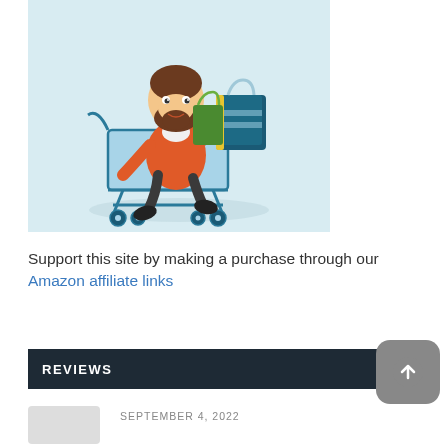[Figure (illustration): Cartoon illustration of a bearded man in an orange jacket sitting in a blue shopping cart, holding teal shopping bags, on a light blue background]
Support this site by making a purchase through our Amazon affiliate links
REVIEWS
SEPTEMBER 4, 2022